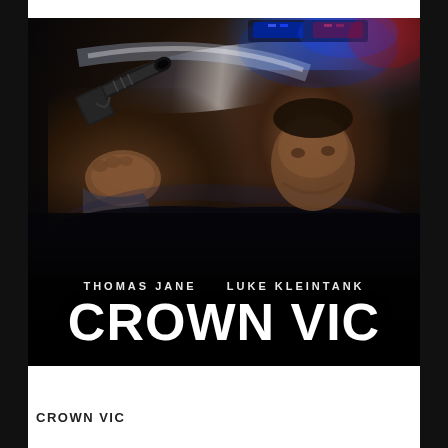[Figure (photo): Movie poster for 'Crown Vic' featuring a man leaning out of a police car window holding a gun, with police lights flashing in the background. Actor names Thomas Jane and Luke Kleintank appear above the movie title 'Crown Vic' in large bold white text at the bottom of the poster.]
CROWN VIC